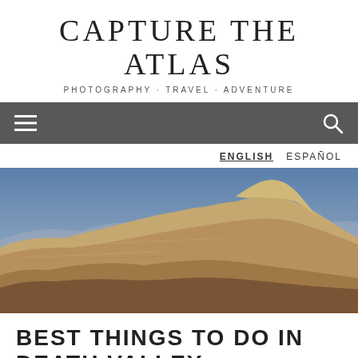CAPTURE THE ATLAS
PHOTOGRAPHY · TRAVEL · ADVENTURE
[Figure (screenshot): Dark grey navigation bar with hamburger menu icon on left and search icon on right]
ENGLISH   ESPAÑOL
[Figure (photo): Panoramic landscape photo of Death Valley showing eroded badlands with layered tan and ochre rock formations under a blue sky with distant purple mountains]
BEST THINGS TO DO IN DEATH VALLEY,